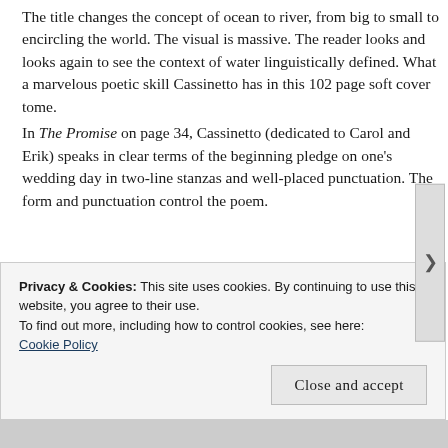The title changes the concept of ocean to river, from big to small to encircling the world. The visual is massive.  The reader looks and looks again to see the context of water linguistically defined. What a marvelous poetic skill Cassinetto has in this 102 page soft cover tome. In The Promise on page 34, Cassinetto (dedicated to Carol and Erik) speaks in clear terms of the beginning pledge on one's wedding day in two-line stanzas and well-placed punctuation.  The form and punctuation control the poem.
.
Take these symbols of love.
to be perfect and unbroken,
.
ll   l i i i
Privacy & Cookies: This site uses cookies. By continuing to use this website, you agree to their use.
To find out more, including how to control cookies, see here:
Cookie Policy
Close and accept